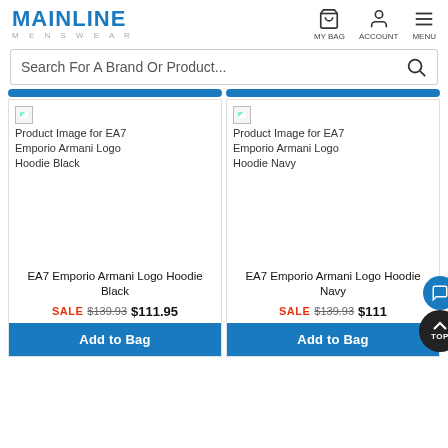MAINLINE MENSWEAR
Search For A Brand Or Product...
[Figure (screenshot): Product image placeholder for EA7 Emporio Armani Logo Hoodie Black]
EA7 Emporio Armani Logo Hoodie Black
SALE $139.93 $111.95
Add to Bag
[Figure (screenshot): Product image placeholder for EA7 Emporio Armani Logo Hoodie Navy]
EA7 Emporio Armani Logo Hoodie Navy
SALE $139.93 $111...
Add to Bag